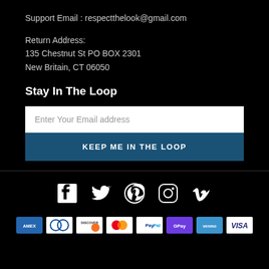Support Email : respectthelook@gmail.com
Return Address:
135 Chestnut St PO BOX 2301
New Britain, CT 06050
Stay In The Loop
Enter Your Email address
KEEP ME IN THE LOOP
[Figure (infographic): Social media icons: Facebook, Twitter, Pinterest, Instagram, Vimeo]
[Figure (infographic): Payment method icons: AMEX, Diners Club, Discover, Mastercard, PayPal, G Pay, Venmo, VISA]